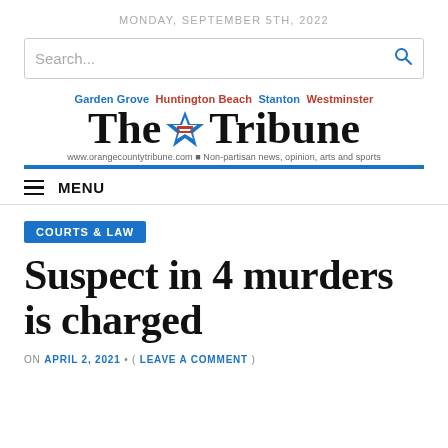MONDAY, SEPTEMBER 5TH, 2022
[Figure (screenshot): Search bar with placeholder text 'Search...' and blue magnifying glass icon on right]
[Figure (logo): The Tribune newspaper masthead logo with city names: Garden Grove, Huntington Beach, Stanton, Westminster above the title, and website URL below]
MENU
COURTS & LAW
Suspect in 4 murders is charged
ON APRIL 2, 2021 • ( LEAVE A COMMENT )